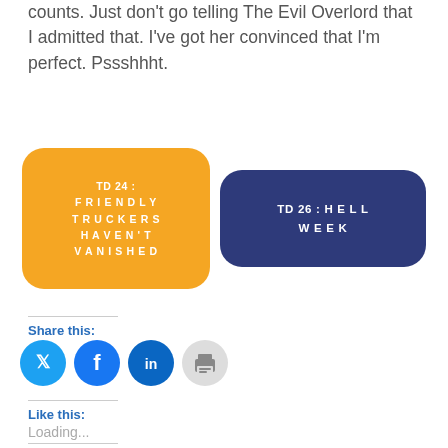counts. Just don't go telling The Evil Overlord that I admitted that. I've got her convinced that I'm perfect. Pssshhht.
[Figure (infographic): Two navigation buttons side by side: orange rounded rectangle labeled 'TD24: FRIENDLY TRUCKERS HAVEN'T VANISHED' and navy rounded rectangle labeled 'TD26: HELL WEEK']
Share this:
[Figure (infographic): Four circular social share icons: Twitter (blue), Facebook (blue), LinkedIn (dark blue), Print (gray)]
Like this:
Loading...
Related